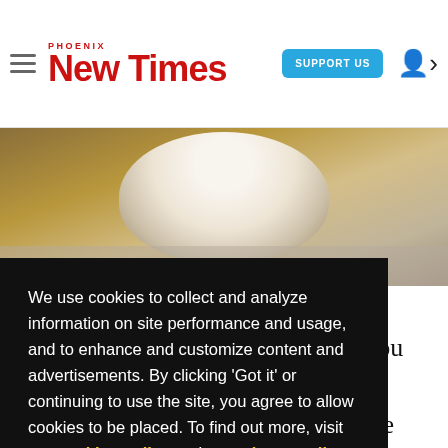Phoenix New Times — SUPPORT US
[Figure (photo): White fluffy dog photographed from behind, with autumn bokeh background]
We use cookies to collect and analyze information on site performance and usage, and to enhance and customize content and advertisements. By clicking 'Got it' or continuing to use the site, you agree to allow cookies to be placed. To find out more, visit our cookies policy and our privacy policy.
Got it!
nty of the eeting him.